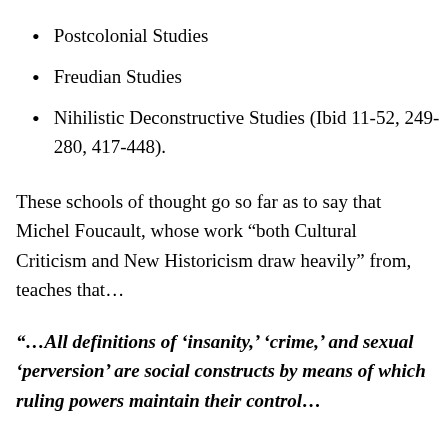Postcolonial Studies
Freudian Studies
Nihilistic Deconstructive Studies (Ibid 11-52, 249-280, 417-448).
These schools of thought go so far as to say that Michel Foucault, whose work “both Cultural Criticism and New Historicism draw heavily” from, teaches that…
“…All definitions of ‘insanity,’ ‘crime,’ and sexual ‘perversion’ are social constructs by means of which ruling powers maintain their control…